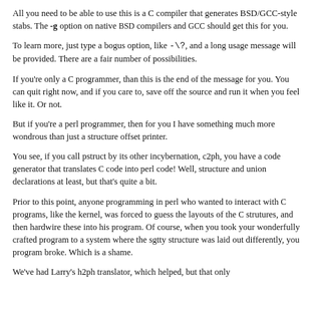All you need to be able to use this is a C compiler that generates BSD/GCC-style stabs. The -g option on native BSD compilers and GCC should get this for you.
To learn more, just type a bogus option, like -\?, and a long usage message will be provided. There are a fair number of possibilities.
If you're only a C programmer, than this is the end of the message for you. You can quit right now, and if you care to, save off the source and run it when you feel like it. Or not.
But if you're a perl programmer, then for you I have something much more wondrous than just a structure offset printer.
You see, if you call pstruct by its other incybernation, c2ph, you have a code generator that translates C code into perl code! Well, structure and union declarations at least, but that's quite a bit.
Prior to this point, anyone programming in perl who wanted to interact with C programs, like the kernel, was forced to guess the layouts of the C strutures, and then hardwire these into his program. Of course, when you took your wonderfully crafted program to a system where the sgtty structure was laid out differently, you program broke. Which is a shame.
We've had Larry's h2ph translator, which helped, but that only